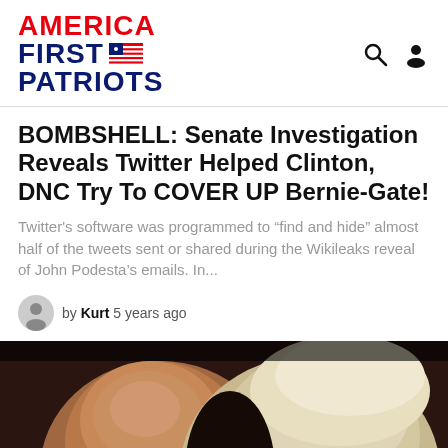[Figure (logo): America First Patriots logo with red AMERICA text, blue FIRST text with flag icon, blue PATRIOTS text, and search/user icons on the right]
BOMBSHELL: Senate Investigation Reveals Twitter Helped Clinton, DNC Try To COVER UP Bernie-Gate!
Twitter's software was programmed to “find and hide” almost half of the tweets sent or shared during the Wikileaks reveal of John Podesta’s emails. In...
by Kurt 5 years ago
[Figure (photo): Close-up photograph of two people's faces, one older person on the left and a person with blonde hair on the right, against a dark background]